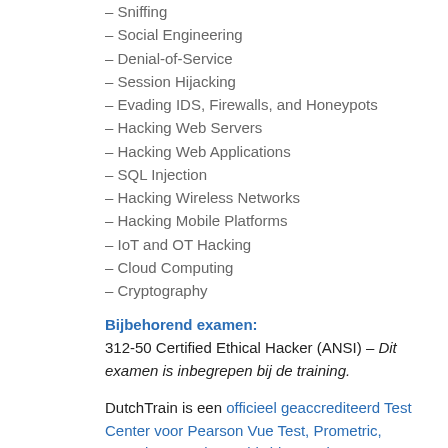– Sniffing
– Social Engineering
– Denial-of-Service
– Session Hijacking
– Evading IDS, Firewalls, and Honeypots
– Hacking Web Servers
– Hacking Web Applications
– SQL Injection
– Hacking Wireless Networks
– Hacking Mobile Platforms
– IoT and OT Hacking
– Cloud Computing
– Cryptography
Bijbehorend examen:
312-50 Certified Ethical Hacker (ANSI) – Dit examen is inbegrepen bij de training.
DutchTrain is een officieel geaccrediteerd Test Center voor Pearson Vue Test, Prometric, Kryterion, Castle Worldwide, Certiport & PSI. U bent bij ons van harte welkom voor examens welke via deze Test Centers